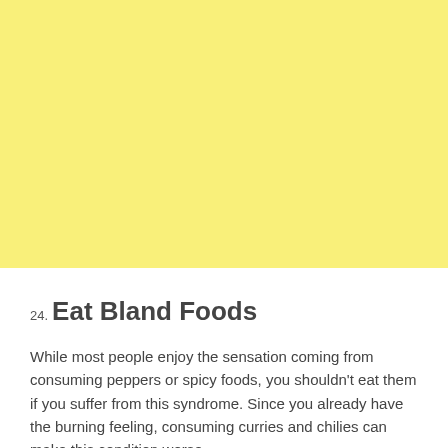[Figure (other): Yellow background block filling the upper portion of the page]
24. Eat Bland Foods
While most people enjoy the sensation coming from consuming peppers or spicy foods, you shouldn't eat them if you suffer from this syndrome. Since you already have the burning feeling, consuming curries and chilies can make this condition worse